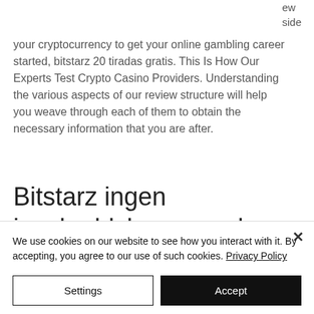ew side
your cryptocurrency to get your online gambling career started, bitstarz 20 tiradas gratis. This Is How Our Experts Test Crypto Casino Providers. Understanding the various aspects of our review structure will help you weave through each of them to obtain the necessary information that you are after.
Bitstarz ingen innskuddsbonus code 2021
We use cookies on our website to see how you interact with it. By accepting, you agree to our use of such cookies. Privacy Policy
Settings
Accept